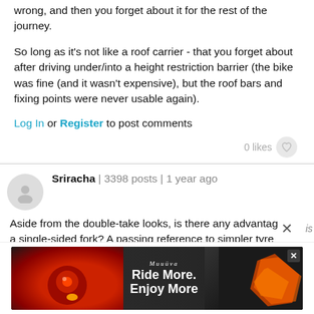wrong, and then you forget about it for the rest of the journey.
So long as it's not like a roof carrier - that you forget about after driving under/into a height restriction barrier (the bike was fine (and it wasn't expensive), but the roof bars and fixing points were never usable again).
Log In or Register to post comments
0 likes
Sriracha | 3398 posts | 1 year ago
Aside from the double-take looks, is there any advantage to a single-sided fork? A passing reference to simpler tyre removal is the only one mentioned, counter-balanced by more awkward wheel removal. Add the restricted choice of front mudguards, the loss of front panniers and
is
[Figure (screenshot): Advertisement banner for 'Ride More. Enjoy More' campaign with a red bicycle light on the left and an orange object on the right against a dark background. Has a close (X) button.]